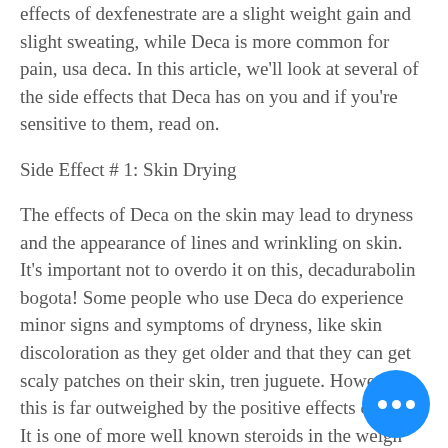effects of dexfenestrate are a slight weight gain and slight sweating, while Deca is more common for pain, usa deca. In this article, we'll look at several of the side effects that Deca has on you and if you're sensitive to them, read on.
Side Effect # 1: Skin Drying
The effects of Deca on the skin may lead to dryness and the appearance of lines and wrinkling on skin. It's important not to overdo it on this, decadurabolin bogota! Some people who use Deca do experience minor signs and symptoms of dryness, like skin discoloration as they get older and that they can get scaly patches on their skin, tren juguete. However this is far outweighed by the positive effects of Deca. It is one of more well known steroids in the weigh world and I believe that it should be available